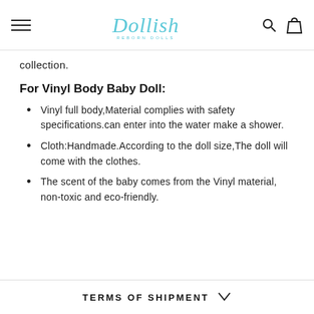Dollish — navigation header with hamburger menu, logo, search and cart icons
collection.
For Vinyl Body Baby Doll:
Vinyl full body,Material complies with safety specifications.can enter into the water make a shower.
Cloth:Handmade.According to the doll size,The doll will come with the clothes.
The scent of the baby comes from the Vinyl material, non-toxic and eco-friendly.
TERMS OF SHIPMENT